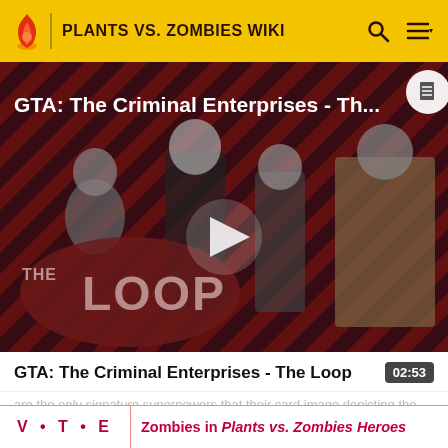PLANTS VS. ZOMBIES WIKI
[Figure (screenshot): Video thumbnail for 'GTA: The Criminal Enterprises - The Loop' showing game characters on a red diagonal striped background with 'THE LOOP' logo and a play button overlay.]
GTA: The Criminal Enterprises - The Loop
02:53
are the only signature superpowers that their card image depicting the hero's pupils.
It is the only zombie card to do so.
V • T • E   Zombies in Plants vs. Zombies Heroes